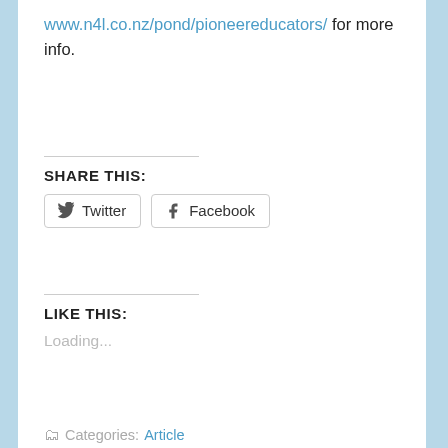www.n4l.co.nz/pond/pioneereducators/ for more info.
SHARE THIS:
Twitter  Facebook
LIKE THIS:
Loading...
Categories: Article